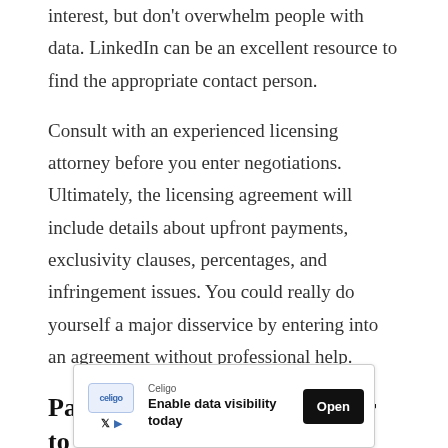interest, but don't overwhelm people with data. LinkedIn can be an excellent resource to find the appropriate contact person.
Consult with an experienced licensing attorney before you enter negotiations. Ultimately, the licensing agreement will include details about upfront payments, exclusivity clauses, percentages, and infringement issues. You could really do yourself a major disservice by entering into an agreement without professional help.
Partner with an entrepreneur to start a business with no money
Many businesses are started by...
[Figure (other): Advertisement banner for Celigo: 'Enable data visibility today' with Open button]